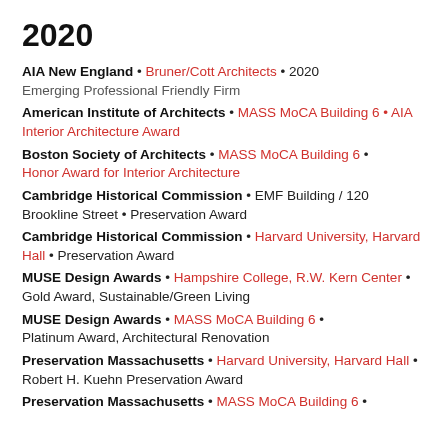2020
AIA New England • Bruner/Cott Architects • 2020 Emerging Professional Friendly Firm
American Institute of Architects • MASS MoCA Building 6 • AIA Interior Architecture Award
Boston Society of Architects • MASS MoCA Building 6 • Honor Award for Interior Architecture
Cambridge Historical Commission • EMF Building / 120 Brookline Street • Preservation Award
Cambridge Historical Commission • Harvard University, Harvard Hall • Preservation Award
MUSE Design Awards • Hampshire College, R.W. Kern Center • Gold Award, Sustainable/Green Living
MUSE Design Awards • MASS MoCA Building 6 • Platinum Award, Architectural Renovation
Preservation Massachusetts • Harvard University, Harvard Hall • Robert H. Kuehn Preservation Award
Preservation Massachusetts • MASS MoCA Building 6 •